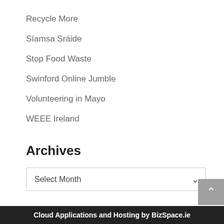Recycle More
Síamsa Sráide
Stop Food Waste
Swinford Online Jumble
Volunteering in Mayo
WEEE Ireland
Archives
Select Month
This website uses cookies to improve your experience. We'll assume you're ok with this, but you can opt-out if you wish.
Cloud Applications and Hosting by BizSpace.ie